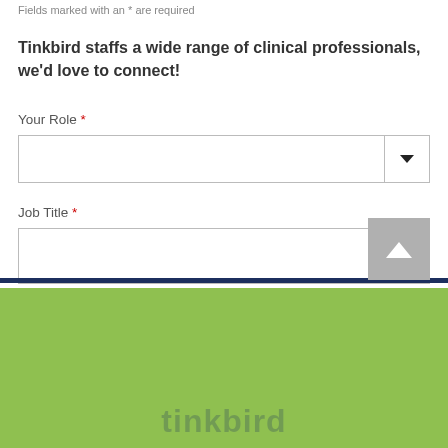Fields marked with an * are required
Tinkbird staffs a wide range of clinical professionals, we'd love to connect!
Your Role *
Job Title *
[Figure (screenshot): Dropdown selector for Your Role field]
[Figure (screenshot): Text input box for Job Title field]
[Figure (screenshot): Back to top button (gray square with up arrow)]
[Figure (logo): Tinkbird logo partially visible at bottom on green background]